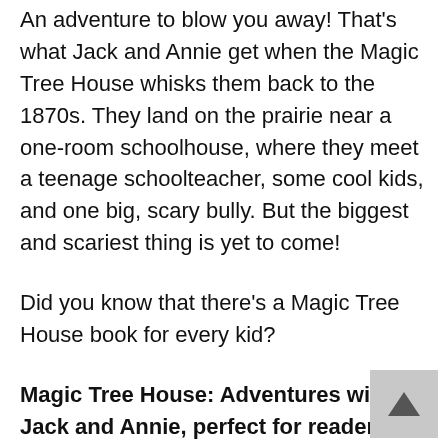An adventure to blow you away! That's what Jack and Annie get when the Magic Tree House whisks them back to the 1870s. They land on the prairie near a one-room schoolhouse, where they meet a teenage schoolteacher, some cool kids, and one big, scary bully. But the biggest and scariest thing is yet to come!
Did you know that there's a Magic Tree House book for every kid?
Magic Tree House: Adventures with Jack and Annie, perfect for readers who are just beginning chapter books
Merlin Missions: More challenging adventures for the experienced reader